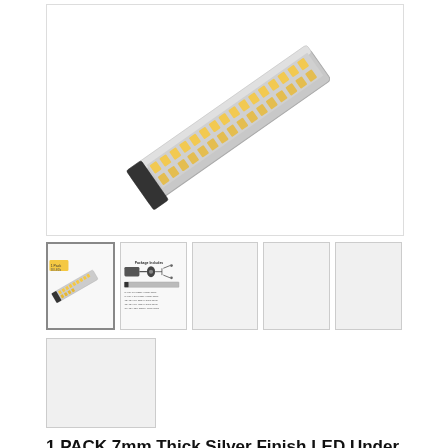[Figure (photo): Main product image of a silver LED under-cabinet light bar shown at an angle, with warm white LEDs visible along a silver aluminum housing with a black end cap]
[Figure (photo): Thumbnail 1: Small product image showing the LED bar with a label indicating 1 Pack]
[Figure (photo): Thumbnail 2: Package contents diagram showing power adapter, dimmer switch, connectors, and LED bar]
[Figure (photo): Thumbnail 3: Blank/white product image placeholder]
[Figure (photo): Thumbnail 4: Blank/white product image placeholder]
[Figure (photo): Thumbnail 5: Blank/white product image placeholder]
[Figure (photo): Thumbnail 6 (second row): Blank/white product image placeholder]
1 PACK 7mm Thick Silver Finish LED Under Cabinet Lighting Dimmable Kit CRI90 300LM